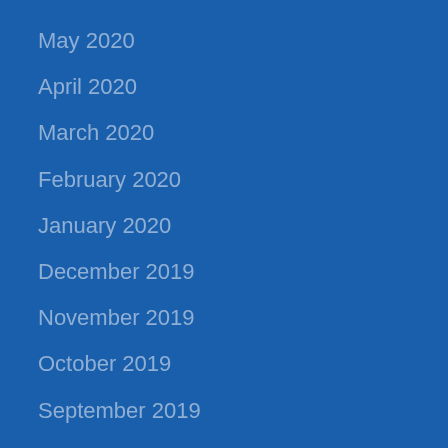May 2020
April 2020
March 2020
February 2020
January 2020
December 2019
November 2019
October 2019
September 2019
August 2019
July 2019